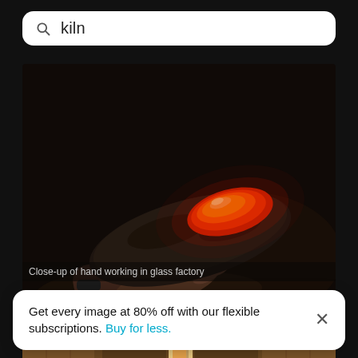kiln
[Figure (photo): Close-up of a hand holding a ceramic or metal tray with a bright red/orange glowing piece of glass in a dark glass factory kiln environment]
Close-up of hand working in glass factory
[Figure (photo): Partial view of wooden kiln or furnace doors with warm orange light visible through gaps]
Get every image at 80% off with our flexible subscriptions. Buy for less.